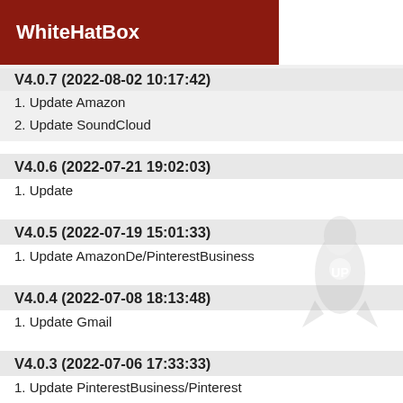WhiteHatBox
V4.0.7 (2022-08-02 10:17:42)
1. Update Amazon
2. Update SoundCloud
V4.0.6 (2022-07-21 19:02:03)
1. Update
V4.0.5 (2022-07-19 15:01:33)
1. Update AmazonDe/PinterestBusiness
V4.0.4 (2022-07-08 18:13:48)
1. Update Gmail
V4.0.3 (2022-07-06 17:33:33)
1. Update PinterestBusiness/Pinterest
V4.0.2 (2022-07-01 11:33:34)
1. Update Pinterest/Discord/Twitter
V4.0.1 (2022-06-24 15:29:38)
1. Update Web.de/Yahoo